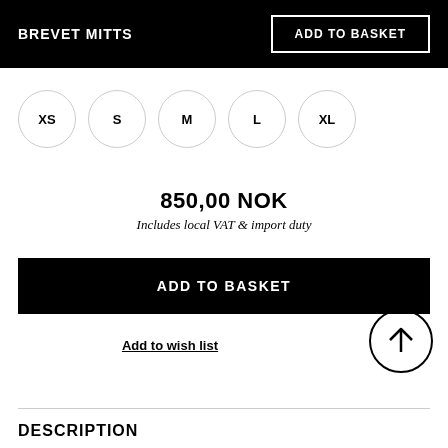BREVET MITTS
ADD TO BASKET
XS
S
M
L
XL
850,00 NOK
Includes local VAT & import duty
ADD TO BASKET
Add to wish list
[Figure (illustration): Upward arrow inside a circle]
DESCRIPTION